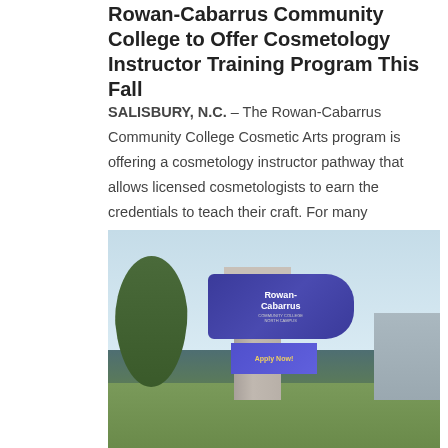Rowan-Cabarrus Community College to Offer Cosmetology Instructor Training Program This Fall
SALISBURY, N.C. – The Rowan-Cabarrus Community College Cosmetic Arts program is offering a cosmetology instructor pathway that allows licensed cosmetologists to earn the credentials to teach their craft. For many licensed cosmetologists, teaching is a natural next...
[Figure (photo): Exterior photo of Rowan-Cabarrus Community College North Campus sign with 'Apply Now' digital display, trees, parking lot lights, and a building in the background under a clear sky.]